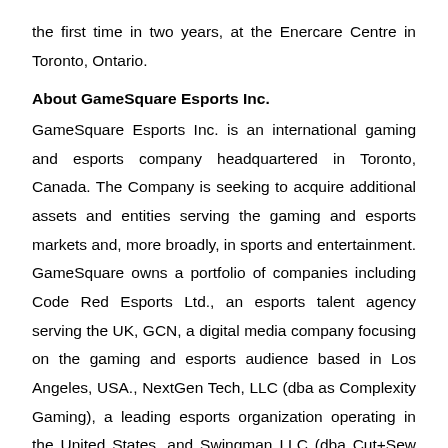the first time in two years, at the Enercare Centre in Toronto, Ontario.
About GameSquare Esports Inc.
GameSquare Esports Inc. is an international gaming and esports company headquartered in Toronto, Canada. The Company is seeking to acquire additional assets and entities serving the gaming and esports markets and, more broadly, in sports and entertainment. GameSquare owns a portfolio of companies including Code Red Esports Ltd., an esports talent agency serving the UK, GCN, a digital media company focusing on the gaming and esports audience based in Los Angeles, USA., NextGen Tech, LLC (dba as Complexity Gaming), a leading esports organization operating in the United States, and Swingman LLC (dba Cut+Sew and Zoned), a gaming and lifestyle marketing agency based in Los